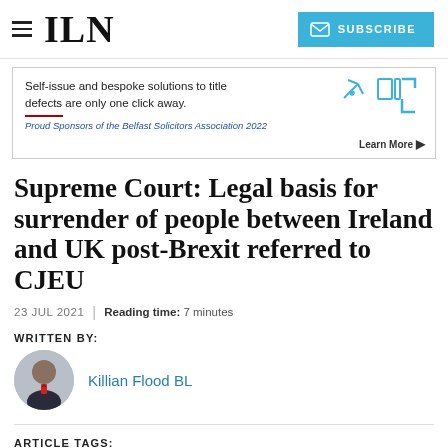ILN | SUBSCRIBE
[Figure (infographic): Advertisement banner: 'Self-issue and bespoke solutions to title defects are only one click away. Proud Sponsors of the Belfast Solicitors Association 2022. Learn More ▶' with decorative graphic elements and teal/blue icon shapes on the right.]
Supreme Court: Legal basis for surrender of people between Ireland and UK post-Brexit referred to CJEU
23 JUL 2021 | Reading time: 7 minutes
WRITTEN BY:
Killian Flood BL
ARTICLE TAGS: